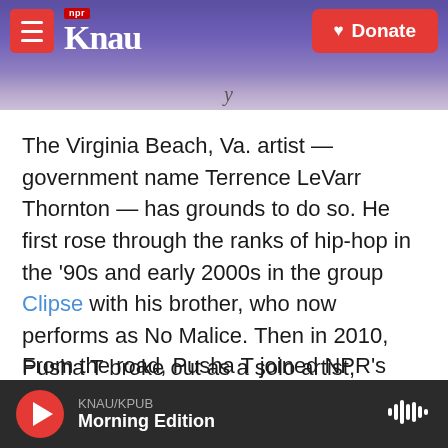KNAU NPR — Donate
The Virginia Beach, Va. artist — government name Terrence LeVarr Thornton — has grounds to do so. He first rose through the ranks of hip-hop in the '90s and early 2000s in the group Clipse with his brother, who now performs as No Malice. Then in 2010, Pusha T broke out as a solo artist, signing to Kanye West's G.O.O.D. Music label. This year, his newest album It's Almost Dry became his first to reach No. 1 on the Billboard 200 chart.
From the road, Pusha T joined NPR's Ayesha Rascoe to discuss the making of the record,
KNAU/KPUB Morning Edition